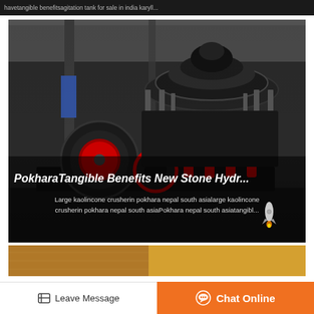havetangible benefitsagitation tank for sale in india karyll...
[Figure (photo): Industrial cone crusher machine photographed in a warehouse setting, large heavy black machinery with red circular wheel components and spring assembly, on a metal platform]
PokharaTangible Benefits New Stone Hydr...
Large kaolincone crusherin pokhara nepal south asialarge kaolincone crusherin pokhara nepal south asiaPokhara nepal south asiatangibl...
[Figure (photo): Partial view of industrial equipment or material at bottom of page]
Leave Message
Chat Online